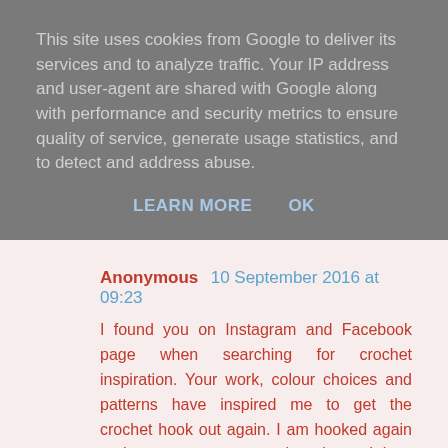This site uses cookies from Google to deliver its services and to analyze traffic. Your IP address and user-agent are shared with Google along with performance and security metrics to ensure quality of service, generate usage statistics, and to detect and address abuse.
LEARN MORE    OK
Anonymous  10 September 2016 at 09:23
I found you on Instagram and Facebook page when searching for crochet inspiration. Your work, colour choices and patterns have inspired me to get the crochet hook out again. I am hooked again and cannot put my crochet down. I love reading your posts and marvel at the speed you crochet.
caroljean3@hotmail.com
Reply